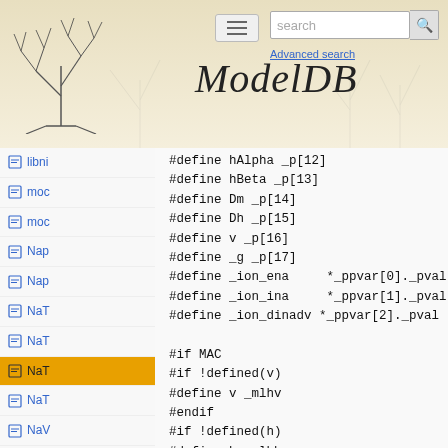ModelDB
libni
moc
moc
Nap
Nap
NaT
NaT
NaT (active)
NaT
NaV
NaV
SK.
SK.
spe
#define hAlpha _p[12]
#define hBeta _p[13]
#define Dm _p[14]
#define Dh _p[15]
#define v _p[16]
#define _g _p[17]
#define _ion_ena     *_ppvar[0]._pval
#define _ion_ina     *_ppvar[1]._pval
#define _ion_dinadv *_ppvar[2]._pval

#if MAC
#if !defined(v)
#define v _mlhv
#endif
#if !defined(h)
#define h _mlhh
#endif
#endif

#if defined(  cplusplus)